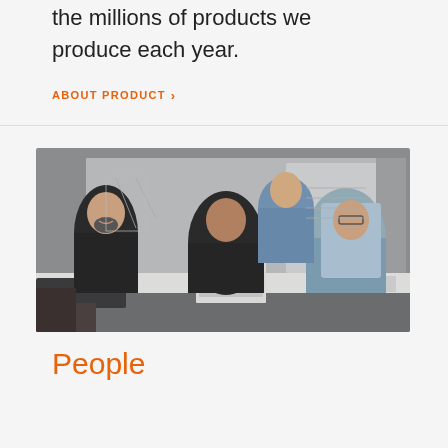the millions of products we produce each year.
ABOUT PRODUCT >
[Figure (photo): Four people in a design studio or office setting gathered around a table with a laptop. One person standing on the left in a black t-shirt laughing, one person standing in the back wearing a denim shirt, and two people seated at the table - one looking at a laptop and one holding up a light blue shirt. Clothing items and papers are on the table.]
People